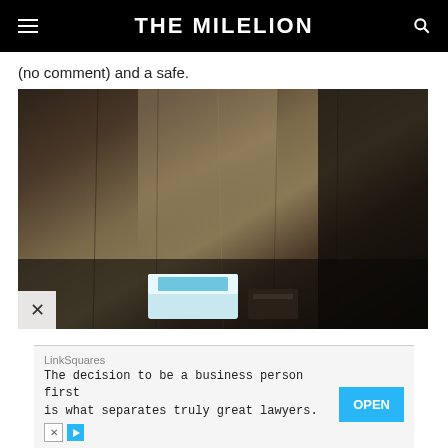THE MILELION
(no comment) and a safe.
[Figure (photo): Dark interior of a wardrobe/safe showing wooden walls with grain texture, dimly lit. At the bottom are some items that appear to be a box with blue lid and other objects in shadow.]
LinkSquares
The decision to be a business person first is what separates truly great lawyers.